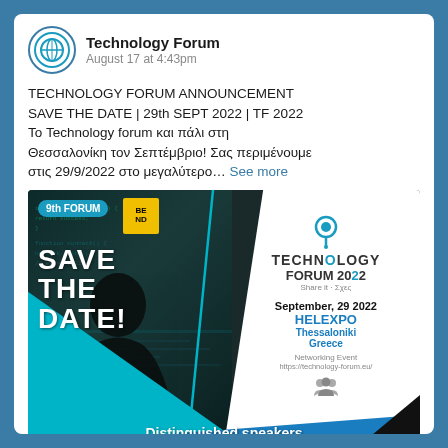[Figure (logo): Technology Forum circular logo with globe/O icon]
Technology Forum
August 17 at 4:43pm
TECHNOLOGY FORUM ANNOUNCEMENT SAVE THE DATE | 29th SEPT 2022 | TF 2022 Το Technology forum και πάλι στη Θεσσαλονίκη τον Σεπτέμβριο! Σας περιμένουμε στις 29/9/2022 στο μεγαλύτερο… See more
[Figure (infographic): Technology Forum 2022 Save the Date event poster. 9th FORUM badge top left, BEND logo, SAVE THE DATE text in white on dark background. Right white panel: Technology Forum 2022 logo, September 29 2022, HELEXPO, Thessaloniki, Greece, Networking Event, https://technology-forum.eu/, Distinguished speakers banner at bottom.]